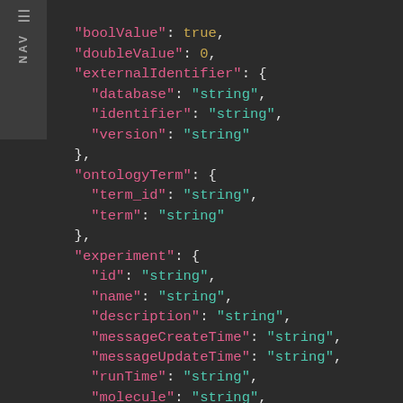[Figure (screenshot): Dark-themed code editor screenshot showing a JSON structure with fields: boolValue: true, doubleValue: 0, externalIdentifier object with database/identifier/version string fields, ontologyTerm object with term_id/term string fields, experiment object with id, name, description, messageCreateTime, messageUpdateTime, runTime, molecule, strategy, selection, library, libraryLayout, instrumentModel, instrumentDataFile, and a truncated field, all as string values.]